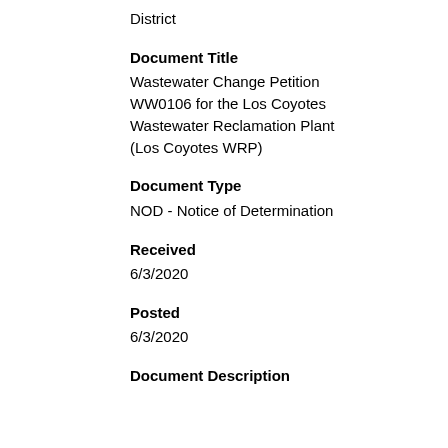District
Document Title
Wastewater Change Petition WW0106 for the Los Coyotes Wastewater Reclamation Plant (Los Coyotes WRP)
Document Type
NOD - Notice of Determination
Received
6/3/2020
Posted
6/3/2020
Document Description